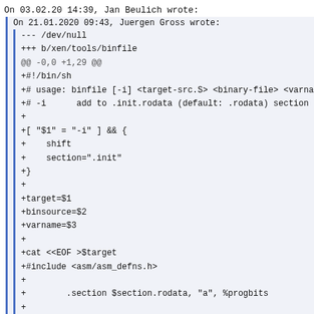On 03.02.20 14:39, Jan Beulich wrote:
On 21.01.2020 09:43, Juergen Gross wrote:
--- /dev/null
+++ b/xen/tools/binfile
@@ -0,0 +1,29 @@
+#!/bin/sh
+# usage: binfile [-i] <target-src.S> <binary-file> <varnam
+# -i      add to .init.rodata (default: .rodata) section
+
+[ "$1" = "-i" ] && {
+    shift
+    section=".init"
+}
+
+target=$1
+binsource=$2
+varname=$3
+
+cat <<EOF >$target
+#include <asm/asm_defns.h>
+
+        .section $section.rodata, "a", %progbits
+
+        .global $varname